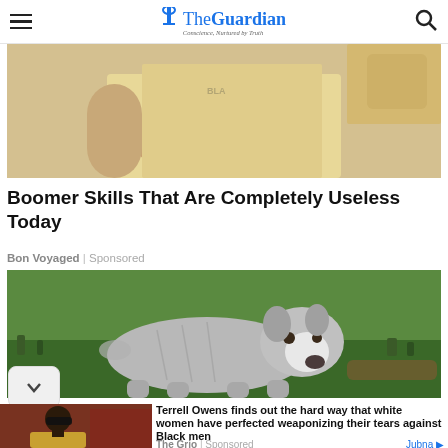The Guardian — Conscience, Nurtured by Truth
[Figure (photo): Partial view of a person wearing a yellow t-shirt with bandaged wrist, cropped at chest level]
Boomer Skills That Are Completely Useless Today
Bon Voyaged | Sponsored
[Figure (photo): A large muscular pit bull dog standing outdoors in a grassy green area]
[Figure (photo): Terrell Owens wearing sunglasses and a gold blazer]
Terrell Owens finds out the hard way that white women have perfected weaponizing their tears against Black men
The Grio | Sponsored
Jubna